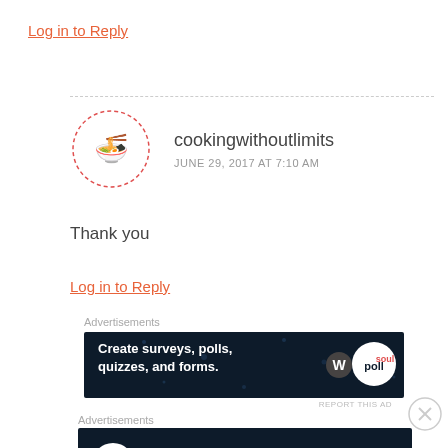Log in to Reply
cookingwithoutlimits
JUNE 29, 2017 AT 7:10 AM
Thank you
Log in to Reply
Advertisements
[Figure (other): Dark advertisement banner: Create surveys, polls, quizzes, and forms. WordPress and PollQ logos.]
REPORT THIS AD
Advertisements
[Figure (other): Dark advertisement banner: Turn your blog into a money-making online course. With icon and arrow.]